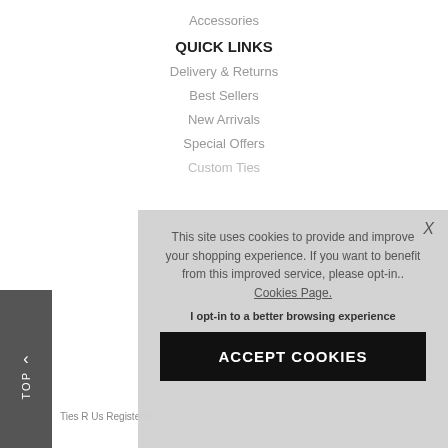Accessories
QUICK LINKS
Delivery & Returns
Best Sellers
New Arrivals
Special Offers
Custom Ties
This site uses cookies to provide and improve your shopping experience. If you want to benefit from this improved service, please opt-in.. Cookies Page.
I opt-in to a better browsing experience
ACCEPT COOKIES
Ties R Us Registered